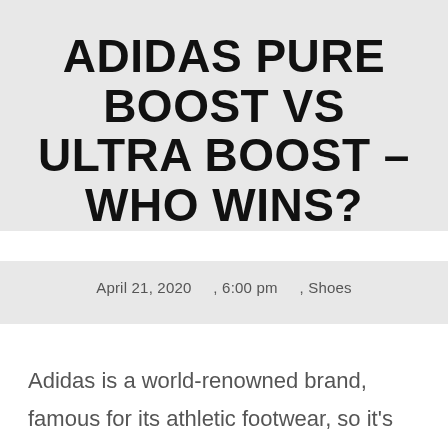ADIDAS PURE BOOST VS ULTRA BOOST – WHO WINS?
April 21, 2020    , 6:00 pm    , Shoes
Adidas is a world-renowned brand, famous for its athletic footwear, so it's often our number one choice when looking for new shoes. Hence today,